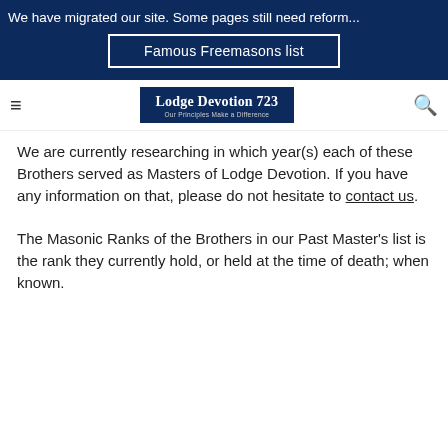We have migrated our site. Some pages still need reform...
Famous Freemasons list
Lodge Devotion 723 — Our Principles Make a Difference
We are currently researching in which year(s) each of these Brothers served as Masters of Lodge Devotion. If you have any information on that, please do not hesitate to contact us.
The Masonic Ranks of the Brothers in our Past Master's list is the rank they currently hold, or held at the time of death; when known.